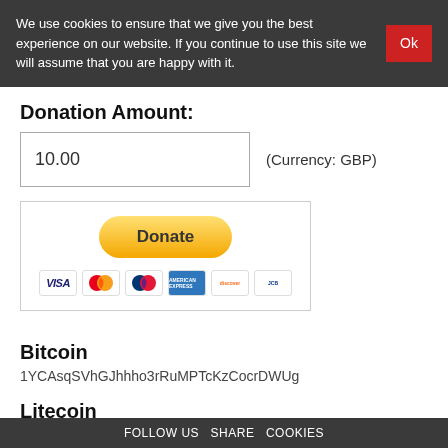We use cookies to ensure that we give you the best experience on our website. If you continue to use this site we will assume that you are happy with it. Ok
Donation Amount:
10.00
(Currency: GBP)
[Figure (other): PayPal Donate button with credit card icons (Visa, Mastercard, Maestro, Amex, Discover, JCB)]
Bitcoin
1YCAsqSVhGJhhho3rRuMPTcKzCocrDWUg
Litecoin
LUgvSSt7vHW6chFRSwCwRJ8urM3q48Q4jJ
FOLLOW US SHARE COOKIES